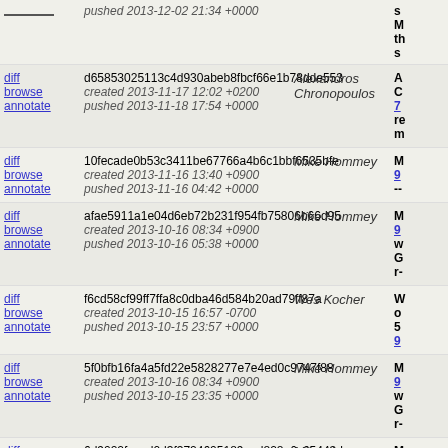| links | changeset | author | message |
| --- | --- | --- | --- |
| diff browse annotate | pushed 2013-12-02 21:34 +0000 |  | s M th s |
| diff browse annotate | d65853025113c4d930abeb8fbcf66e1b78dde553 created 2013-11-17 12:02 +0200 pushed 2013-11-18 17:54 +0000 | Alexandros Chronopoulos | A C 7 re m |
| diff browse annotate | 10fecade0b53c3411be67766a4b6c1bbf6535bfe created 2013-11-16 13:40 +0900 pushed 2013-11-16 04:42 +0000 | Mike Hommey | M 9 -- |
| diff browse annotate | afae5911a1e04d6eb72b231f954fb75806b66d95 created 2013-10-16 08:34 +0900 pushed 2013-10-16 05:38 +0000 | Mike Hommey | M 9 w G r- |
| diff browse annotate | f6cd58cf99ff7ffa8c0dba46d584b20ad79ff87a created 2013-10-15 16:57 -0700 pushed 2013-10-15 23:57 +0000 | Wes Kocher | W o 5 9 |
| diff browse annotate | 5f0bfb16fa4a5fd22e5828277e7e4ed0c9747f88 created 2013-10-16 08:34 +0900 pushed 2013-10-15 23:35 +0000 | Mike Hommey | M 9 w G r- |
| diff browse annotate | 6d9022faecd0d3f3724605189aed828a6c65443d created 2013-10-16 08:31 +0900 pushed 2013-10-15 23:35 +0000 | Mike Hommey | M 9 m |